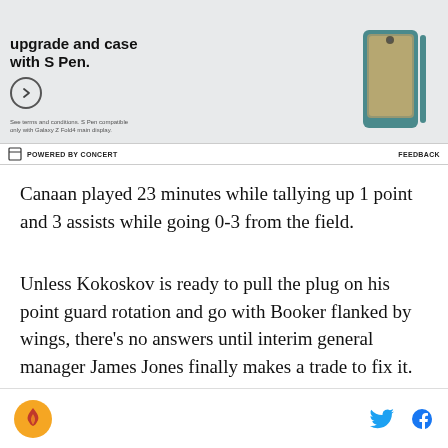[Figure (photo): Samsung Galaxy Z Fold4 advertisement showing phone with S Pen and teal case. Text reads 'upgrade and case with S Pen.' with a circle arrow button and fine print about terms and conditions.]
POWERED BY CONCERT    FEEDBACK
Canaan played 23 minutes while tallying up 1 point and 3 assists while going 0-3 from the field.
Unless Kokoskov is ready to pull the plug on his point guard rotation and go with Booker flanked by wings, there’s no answers until interim general manager James Jones finally makes a trade to fix it.
[Figure (logo): Website logo (flame icon in orange circle) and social sharing icons for Twitter (blue bird) and Facebook (dark blue f)]